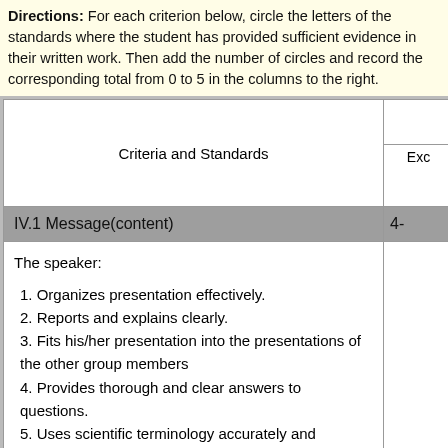Directions: For each criterion below, circle the letters of the standards where the student has provided sufficient evidence in their written work. Then add the number of circles and record the corresponding total from 0 to 5 in the columns to the right.
| Criteria and Standards | Exc |
| --- | --- |
| IV.1 Message(content) | 4- |
| The speaker:
1. Organizes presentation effectively.
2. Reports and explains clearly.
3. Fits his/her presentation into the presentations of the other group members
4. Provides thorough and clear answers to questions.
5. Uses scientific terminology accurately and appropriately. |  |
| IV.2 Medium(style) | 4- |
| The speaker: |  |